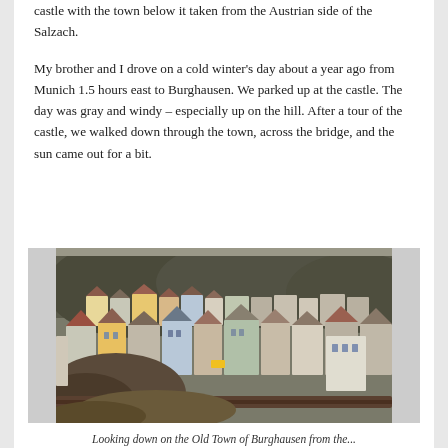castle with the town below it taken from the Austrian side of the Salzach.
My brother and I drove on a cold winter's day about a year ago from Munich 1.5 hours east to Burghausen. We parked up at the castle. The day was gray and windy – especially up on the hill. After a tour of the castle, we walked down through the town, across the bridge, and the sun came out for a bit.
[Figure (photo): Aerial view of the colorful Old Town of Burghausen from the castle, showing densely packed historic buildings with colorful facades (yellow, blue, pink, cream) and terracotta roofs, with a wooded hillside in the background. Taken on a gray winter day.]
Looking down on the Old Town of Burghausen from the...